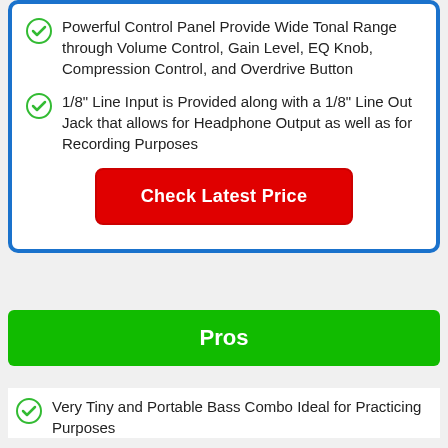Powerful Control Panel Provide Wide Tonal Range through Volume Control, Gain Level, EQ Knob, Compression Control, and Overdrive Button
1/8" Line Input is Provided along with a 1/8" Line Out Jack that allows for Headphone Output as well as for Recording Purposes
Check Latest Price
Pros
Very Tiny and Portable Bass Combo Ideal for Practicing Purposes